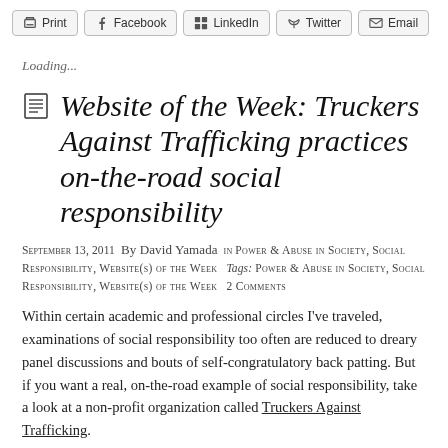Print  Facebook  LinkedIn  Twitter  Email
Loading...
Website of the Week: Truckers Against Trafficking practices on-the-road social responsibility
September 13, 2011  By David Yamada  in POWER & ABUSE IN SOCIETY, SOCIAL RESPONSIBILITY, WEBSITE(S) OF THE WEEK  Tags: POWER & ABUSE IN SOCIETY, SOCIAL RESPONSIBILITY, WEBSITE(S) OF THE WEEK  2 Comments
Within certain academic and professional circles I've traveled, examinations of social responsibility too often are reduced to dreary panel discussions and bouts of self-congratulatory back patting. But if you want a real, on-the-road example of social responsibility, take a look at a non-profit organization called Truckers Against Trafficking.
Truckers Against Trafficking also...